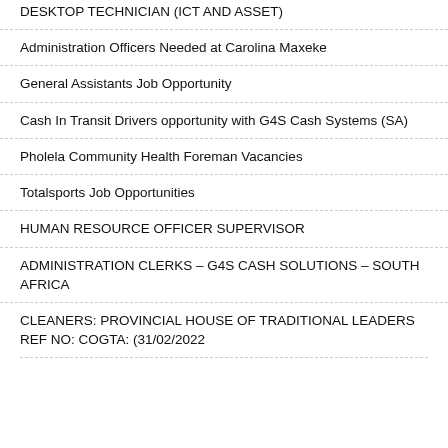DESKTOP TECHNICIAN (ICT AND ASSET)
Administration Officers Needed at Carolina Maxeke
General Assistants Job Opportunity
Cash In Transit Drivers opportunity with G4S Cash Systems (SA)
Pholela Community Health Foreman Vacancies
Totalsports Job Opportunities
HUMAN RESOURCE OFFICER SUPERVISOR
ADMINISTRATION CLERKS – G4S CASH SOLUTIONS – SOUTH AFRICA
CLEANERS: PROVINCIAL HOUSE OF TRADITIONAL LEADERS REF NO: COGTA: (31/02/2022